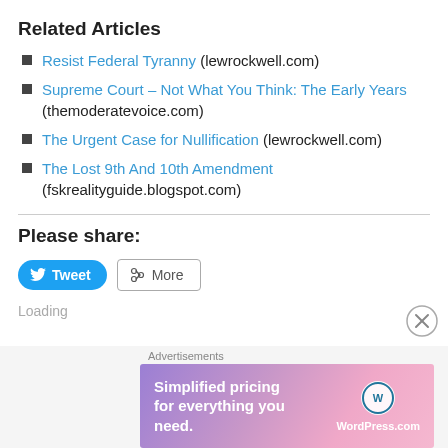Related Articles
Resist Federal Tyranny (lewrockwell.com)
Supreme Court – Not What You Think: The Early Years (themoderatevoice.com)
The Urgent Case for Nullification (lewrockwell.com)
The Lost 9th And 10th Amendment (fskrealityguide.blogspot.com)
Please share:
Loading
Advertisements
[Figure (infographic): WordPress.com advertisement banner: 'Simplified pricing for everything you need.' with WordPress.com logo on a purple-pink gradient background.]